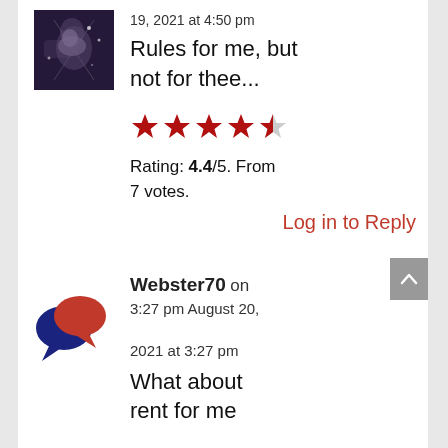19, 2021 at 4:50 pm
Rules for me, but not for thee...
[Figure (other): 4.4 out of 5 stars rating display with 4 full red stars and one half red star]
Rating: 4.4/5. From 7 votes.
Log in to Reply
[Figure (illustration): Two overlapping speech bubble icons, one dark blue and one red]
Webster70 on 3:27 pm August 20, 2021 at 3:27 pm
What about rent for me